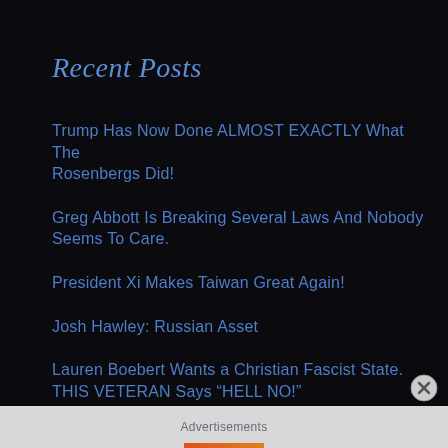Recent Posts
Trump Has Now Done ALMOST EXACTLY What The Rosenbergs Did!
Greg Abbott Is Breaking Several Laws And Nobody Seems To Care.
President Xi Makes Taiwan Great Again!
Josh Hawley: Russian Asset
Lauren Boebert Wants a Christian Fascist State. THIS VETERAN Says “HELL NO!”
Advertisements